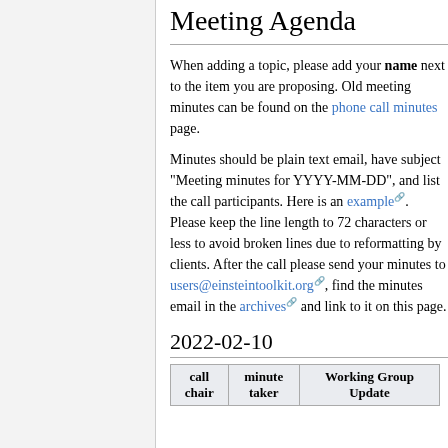Meeting Agenda
When adding a topic, please add your name next to the item you are proposing. Old meeting minutes can be found on the phone call minutes page.
Minutes should be plain text email, have subject "Meeting minutes for YYYY-MM-DD", and list the call participants. Here is an example. Please keep the line length to 72 characters or less to avoid broken lines due to reformatting by clients. After the call please send your minutes to users@einsteintoolkit.org, find the minutes email in the archives and link to it on this page.
2022-02-10
| call chair | minute taker | Working Group Update |
| --- | --- | --- |